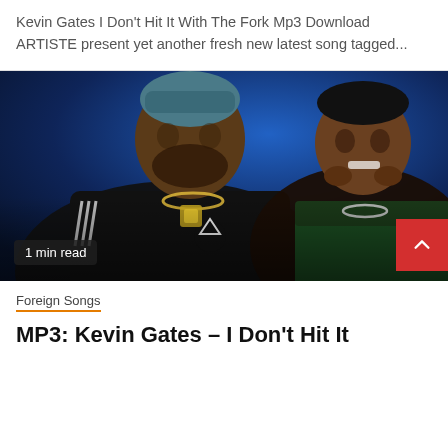Kevin Gates I Don't Hit It With The Fork Mp3 Download ARTISTE present yet another fresh new latest song tagged...
[Figure (photo): Two men posing in front of a blue background; the man on the left is wearing a black Adidas tracksuit with a large chain necklace, and the man on the right is wearing a green jacket with a chain; a '1 min read' badge is in the bottom left and a red scroll-up button in the bottom right.]
1 min read
Foreign Songs
MP3: Kevin Gates – I Don't Hit It